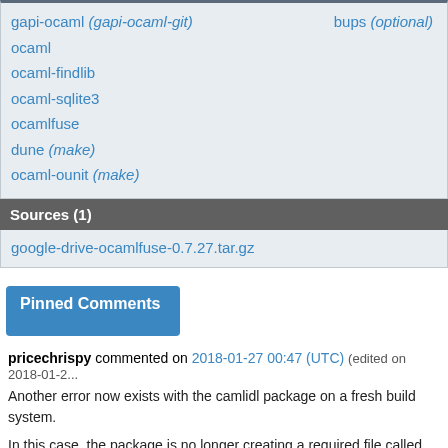gapi-ocaml (gapi-ocaml-git)
bups (optional)
ocaml
ocaml-findlib
ocaml-sqlite3
ocamlfuse
dune (make)
ocaml-ounit (make)
Sources (1)
google-drive-ocamlfuse-0.7.27.tar.gz
Pinned Comments
pricechrispy commented on 2018-01-27 00:47 (UTC) (edited on 2018-01-2...
Another error now exists with the camlidl package on a fresh build system.
In this case, the package is no longer creating a required file called "META" showing up as installed, and prevents the package from building.
If you run "ocamlfind list | grep -i 'camlidl'", you should see the camlidl packa...
If not, manually create the META file: /usr/lib/ocaml/camlidl/META